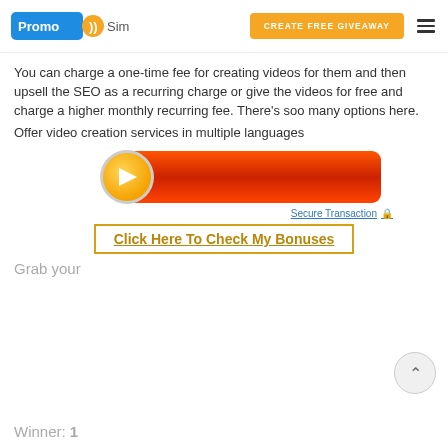[Figure (logo): PromoSimple logo with blue rounded rectangle, orange speech bubble icon, and 'Simple' text]
[Figure (screenshot): Orange 'CREATE FREE GIVEAWAY' button and hamburger menu icon]
You can charge a one-time fee for creating videos for them and then upsell the SEO as a recurring charge or give the videos for free and charge a higher monthly recurring fee. There's soo many options here.
Offer video creation services in multiple languages
[Figure (illustration): Red CTA button with orange arrow circle on the left]
Secure Transaction 🔒
Click Here To Check My Bonuses
Grab your
Winner: 1